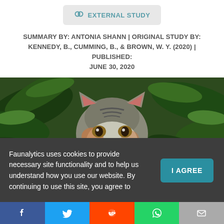[Figure (logo): External Study badge with link icon and teal text reading EXTERNAL STUDY on grey background]
SUMMARY BY: ANTONIA SHANN | ORIGINAL STUDY BY: KENNEDY, B., CUMMING, B., & BROWN, W. Y. (2020) | PUBLISHED: JUNE 30, 2020
[Figure (photo): Close-up photo of a tabby/calico cat looking at the camera amid green foliage]
Faunalytics uses cookies to provide necessary site functionality and to help us understand how you use our website. By continuing to use this site, you agree to
[Figure (infographic): Social sharing bar with Facebook, Twitter, Reddit, WhatsApp, and Email buttons]